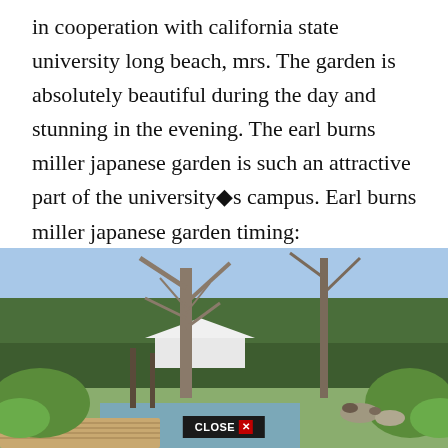in cooperation with california state university long beach, mrs. The garden is absolutely beautiful during the day and stunning in the evening. The earl burns miller japanese garden is such an attractive part of the university�s campus. Earl burns miller japanese garden timing:
[Figure (photo): Outdoor Japanese garden scene with large bare trees, green foliage, a wooden walkway/bridge in the foreground, a white tent structure in the background, and people relaxing on rocks near a pond. A 'CLOSE X' button overlay is visible at the bottom center.]